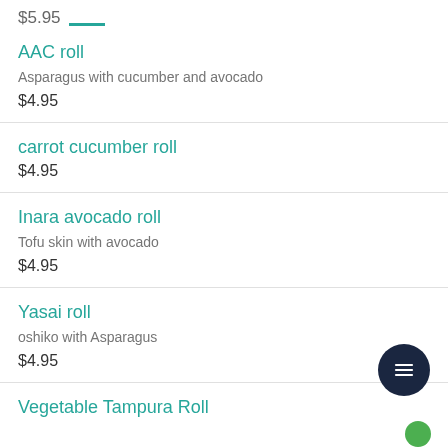$5.95
AAC roll
Asparagus with cucumber and avocado
$4.95
carrot cucumber roll
$4.95
Inara avocado roll
Tofu skin with avocado
$4.95
Yasai roll
oshiko with Asparagus
$4.95
Vegetable Tampura Roll